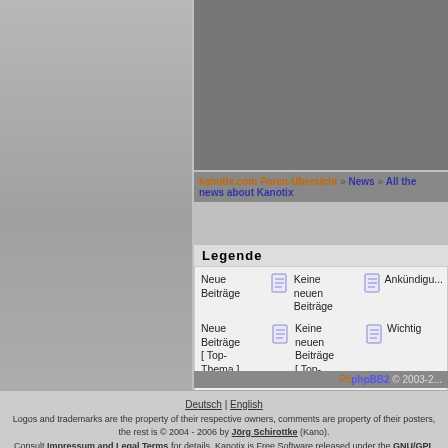[Figure (screenshot): New topic button with book icon and orange/blue styling]
kanotix.com Foren-Übersicht » News » All the news about Kanotix
Legende
Neue Beiträge | Keine neuen Beiträge | Ankündigu...
Neue Beiträge [ Top-Thema ] | Keine neuen Beiträge [ Top-Thema ] | Wichtig
Neue Beiträge [ Gesperrt ] | Keine neuen Beiträge [ Gesperrt ]
Deutsch | English
Logos and trademarks are the property of their respective owners, comments are property of their posters, the rest is © 2004 - 2006 by Jörg Schirottke (Kano).
Consult Impressum and Legal Terms for details. Kanotix is Free Software released under the GNU/GPL license.